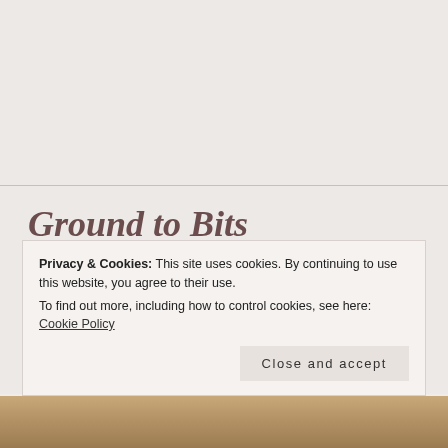Ground to Bits
SEPTEMBER 5, 2015 | JOSHUA MICHAEL. | BOTTOM, DOM, DRAG QUEENS, EFFEMINATE, FEM, GAY, GOD, GRINDR, HOMOSEXUALITY, LOVE, MASC, MASCULINE, QUEER, SCRUFF, SEX, STD, SUB, TINDER, TOP | LEAVE A COMMENT
Privacy & Cookies: This site uses cookies. By continuing to use this website, you agree to their use.
To find out more, including how to control cookies, see here: Cookie Policy
[Figure (photo): Photo strip at the bottom of the page, partially visible]